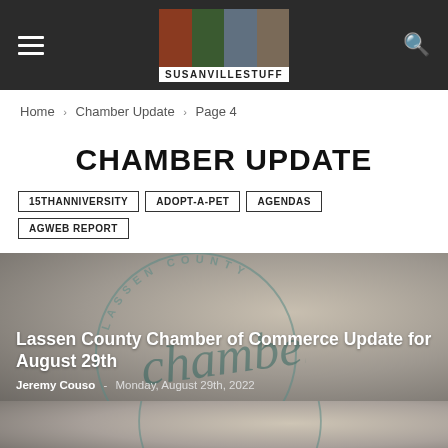SUSANVILLESTUFF
Home › Chamber Update › Page 4
CHAMBER UPDATE
15THANNIVERSITY
ADOPT-A-PET
AGENDAS
AGWEB REPORT
[Figure (photo): Lassen County Chamber of Commerce logo watermark with decorative cursive 'chamber' text on a grey-brown background]
Lassen County Chamber of Commerce Update for August 29th
Jeremy Couso  -  Monday, August 29th, 2022
[Figure (photo): Partial view of Lassen County Chamber of Commerce logo watermark on grey-brown background]